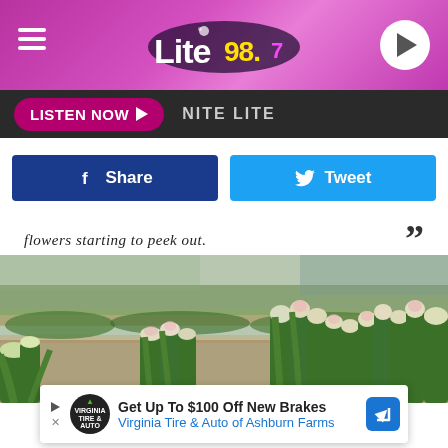Lite 98.7 — LISTEN NOW ▶ NITE LITE
Share  Tweet
flowers starting to peek out. "
[Figure (photo): Rows of tulip plants in a farm field, flowers starting to peek out, with close-up of pale pink/white tulip buds in the foreground and rows of green plants extending into the distance.]
Get Up To $100 Off New Brakes  Virginia Tire & Auto of Ashburn Farms